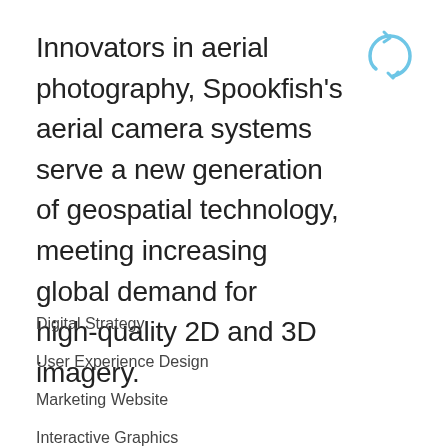[Figure (logo): Spookfish logo — a circular arrow icon in light blue]
Innovators in aerial photography, Spookfish's aerial camera systems serve a new generation of geospatial technology, meeting increasing global demand for high-quality 2D and 3D imagery.
Digital Strategy
User Experience Design
Marketing Website
Interactive Graphics